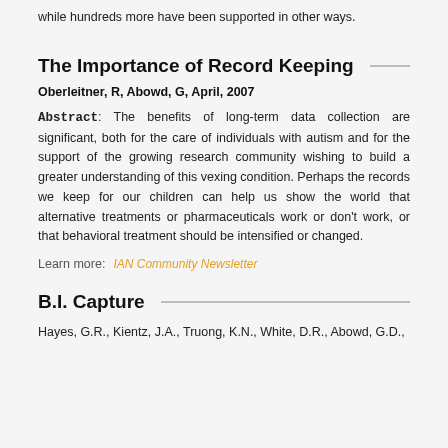while hundreds more have been supported in other ways.
The Importance of Record Keeping
Oberleitner, R, Abowd, G, April, 2007
Abstract: The benefits of long-term data collection are significant, both for the care of individuals with autism and for the support of the growing research community wishing to build a greater understanding of this vexing condition. Perhaps the records we keep for our children can help us show the world that alternative treatments or pharmaceuticals work or don't work, or that behavioral treatment should be intensified or changed.
Learn more:   IAN Community Newsletter
B.I. Capture
Hayes, G.R., Kientz, J.A., Truong, K.N., White, D.R., Abowd, G.D.,